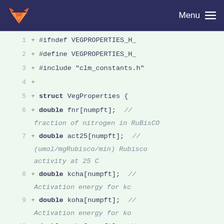Menu
[Figure (screenshot): GitLab code diff view showing VegProperties.h header file with struct definition containing double fields: fnr, act25, kcha, koha, cpha, vcmaxha, jmaxha each with numpft array and comments describing their purpose (fraction of nitrogen in RuBisCO, Rubisco activity at 25C, Activation energy for kc/ko/cp/vcmax/jmax)]